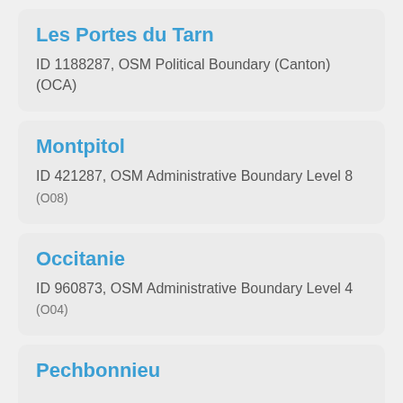Les Portes du Tarn
ID 1188287, OSM Political Boundary (Canton) (OCA)
Montpitol
ID 421287, OSM Administrative Boundary Level 8 (O08)
Occitanie
ID 960873, OSM Administrative Boundary Level 4 (O04)
Pechbonnieu